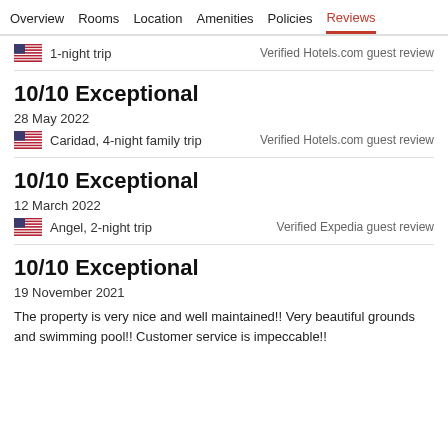Overview  Rooms  Location  Amenities  Policies  Reviews
1-night trip
Verified Hotels.com guest review
10/10 Exceptional
28 May 2022
Caridad, 4-night family trip
Verified Hotels.com guest review
10/10 Exceptional
12 March 2022
Angel, 2-night trip
Verified Expedia guest review
10/10 Exceptional
19 November 2021
The property is very nice and well maintained!! Very beautiful grounds and swimming pool!! Customer service is impeccable!!